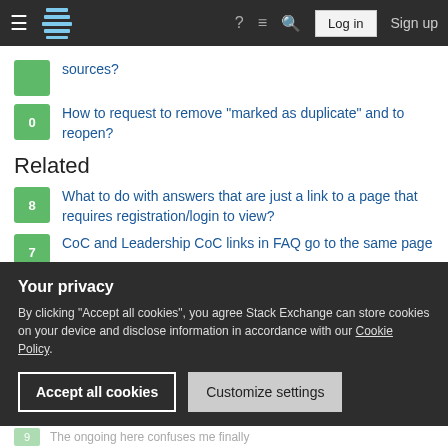Stack Exchange navigation bar with login and sign up buttons
sources?
0 — How to request to remove "marked as duplicate" and to reopen?
Related
8 — What to do with answers that are just a link to a page that requires registration/login to view?
7 — CoC and Leadership CoC links in FAQ go to the same page
12 — Why don't we improve the design of the link to the about page?
Your privacy
By clicking "Accept all cookies", you agree Stack Exchange can store cookies on your device and disclose information in accordance with our Cookie Policy.
Accept all cookies    Customize settings
The ongoing here confuses me finally